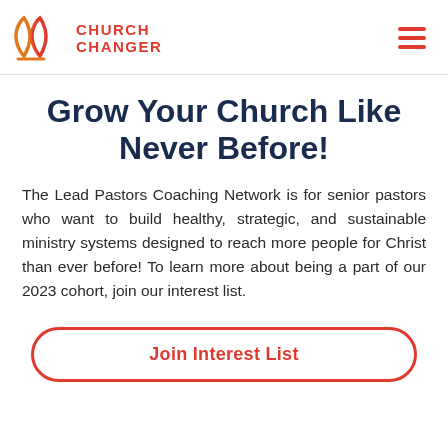[Figure (logo): Church Changer logo with an orange and red abstract overlapping arch/diamond shape on the left, and the text CHURCH CHANGER in red bold uppercase letters on the right]
Grow Your Church Like Never Before!
The Lead Pastors Coaching Network is for senior pastors who want to build healthy, strategic, and sustainable ministry systems designed to reach more people for Christ than ever before! To learn more about being a part of our 2023 cohort, join our interest list.
Join Interest List